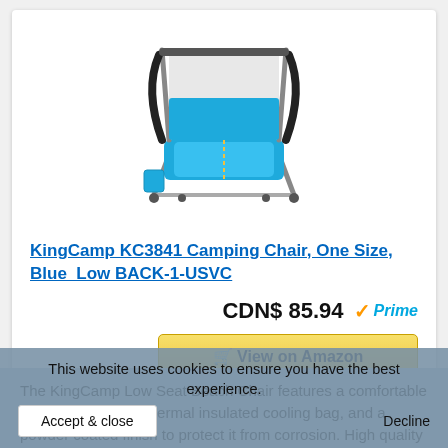[Figure (photo): KingCamp KC3841 blue low-back camping/beach chair with armrests, mesh back, and cup holder, viewed from a slight angle]
KingCamp KC3841 Camping Chair, One Size, Blue_Low BACK-1-USVC
CDN$ 85.94 Prime
View on Amazon
The KingCamp Low Seat Beach Chair features a comfortable 9.5" seat height, a thermal insulated cooling bag, and a powder coated finish to protect it from corrosion. High quality stainless steel is
This website uses cookies to ensure you have the best experience.
Accept & close
Decline